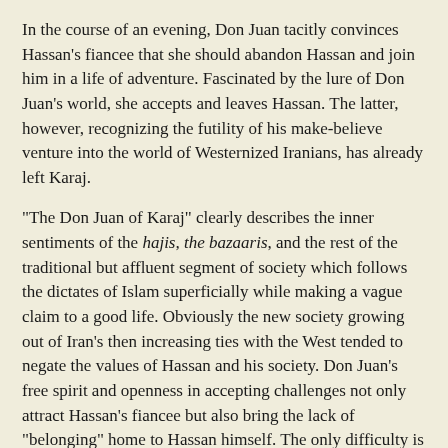In the course of an evening, Don Juan tacitly convinces Hassan's fiancee that she should abandon Hassan and join him in a life of adventure. Fascinated by the lure of Don Juan's world, she accepts and leaves Hassan. The latter, however, recognizing the futility of his make-believe venture into the world of Westernized Iranians, has already left Karaj.
"The Don Juan of Karaj" clearly describes the inner sentiments of the hajis, the bazaaris, and the rest of the traditional but affluent segment of society which follows the dictates of Islam superficially while making a vague claim to a good life. Obviously the new society growing out of Iran's then increasing ties with the West tended to negate the values of Hassan and his society. Don Juan's free spirit and openness in accepting challenges not only attract Hassan's fiancee but also bring the lack of "belonging" home to Hassan himself. The only difficulty is that Don Juan is a mere facsimile of a Westerner. He lacks the substance to which the girl is attracted.
A comparison of "Dash Akol" and "The Don Juan of Karaj" shows that the entire society has changed and that the issues discussed by Kaka Rostam and Dash Akol in the small teahouse in Shiraz no longer concern this society. Of Don Juan Hedayat says:
Don Juan was quite unconcerned about situations that